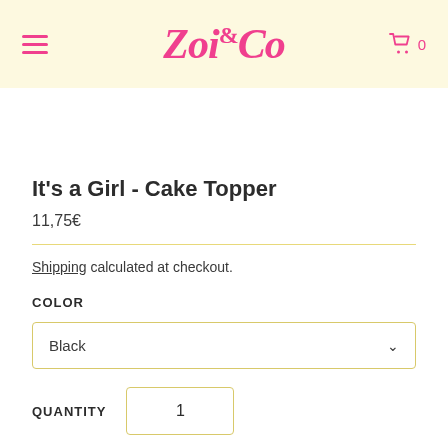Zoi&Co — navigation header with hamburger menu and cart icon (0 items)
It's a Girl - Cake Topper
11,75€
Shipping calculated at checkout.
COLOR
Black
QUANTITY 1